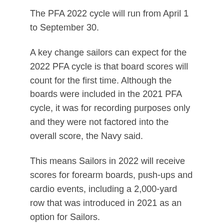The PFA 2022 cycle will run from April 1 to September 30.
A key change sailors can expect for the 2022 PFA cycle is that board scores will count for the first time. Although the boards were included in the 2021 PFA cycle, it was for recording purposes only and they were not factored into the overall score, the Navy said.
This means Sailors in 2022 will receive scores for forearm boards, push-ups and cardio events, including a 2,000-yard row that was introduced in 2021 as an option for Sailors.
The Navy previously unveiled its standards for the forearm board and rowing events in November 2020.
RELATED
Sailors between the ages of 17 and 19 will receive an outstanding score if they reach a maximum of 3:40 minutes for the plank event, as directed. Exceptional scoring times are reduced by five seconds